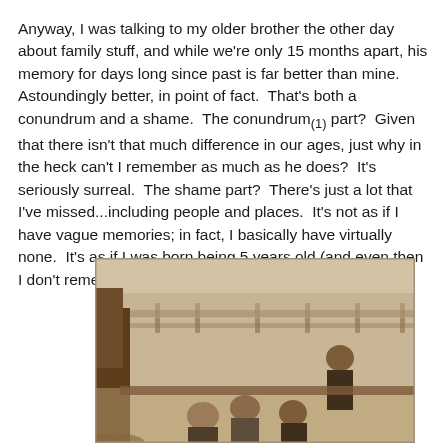Anyway, I was talking to my older brother the other day about family stuff, and while we're only 15 months apart, his memory for days long since past is far better than mine. Astoundingly better, in point of fact. That's both a conundrum and a shame. The conundrum(1) part? Given that there isn't that much difference in our ages, just why in the heck can't I remember as much as he does? It's seriously surreal. The shame part? There's just a lot that I've missed...including people and places. It's not as if I have vague memories; in fact, I basically have virtually none. It's as if I was born being 5 years old (and even then I don't remember all that much).
[Figure (photo): Sepia-toned vintage photograph of children outdoors near a tree and a fence or railing, with a beach or waterfront in the background.]